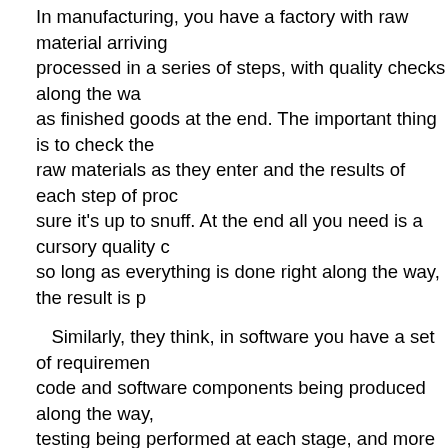In manufacturing, you have a factory with raw material arriving processed in a series of steps, with quality checks along the way as finished goods at the end. The important thing is to check the raw materials as they enter and the results of each step of processing sure it's up to snuff. At the end all you need is a cursory quality check so long as everything is done right along the way, the result is p…
Similarly, they think, in software you have a set of requirements code and software components being produced along the way, testing being performed at each stage, and more tests as the components woven together. The end product is subject to more testing, but most testing has already been done. The idea is that quality is designed…
This method for building software is exactly what, in gruesome requires. It's spelled out in highly detailed regulations. Sounds good — would anyone want crappy software, particularly when it comes…
The trouble is that this whole way is thinking is based on a h…